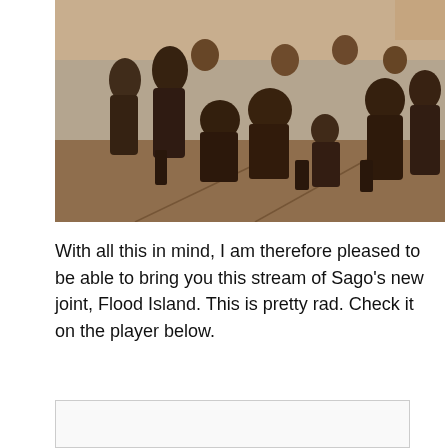[Figure (photo): Sepia-toned group photo of people posing together outdoors, some crouching, some standing, on a concrete plaza. A child in a beanie is visible in the center-right area.]
With all this in mind, I am therefore pleased to be able to bring you this stream of Sago's new joint, Flood Island. This is pretty rad. Check it on the player below.
[Figure (screenshot): Embedded media player box (empty/white rectangle with border)]